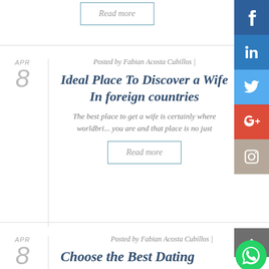Read more
Posted by Fabian Acosta Cubillos |
Ideal Place To Discover a Wife In foreign countries
The best place to get a wife is certainly where worldbrides.org you are and that place is no just
Read more
Posted by Fabian Acosta Cubillos |
Choose the Best Dating